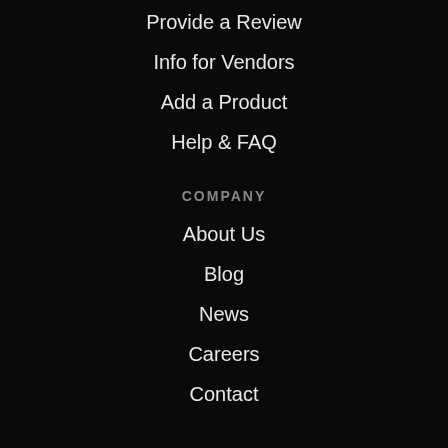Provide a Review
Info for Vendors
Add a Product
Help & FAQ
COMPANY
About Us
Blog
News
Careers
Contact